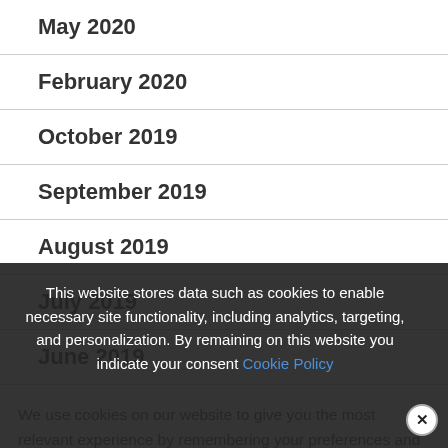May 2020
February 2020
October 2019
September 2019
August 2019
July 2019
June 2019
We use cookies on our website to give you the most relevant experience by remembering your preferences and repeat visits. By clicking “Accept All”, you consent to the use of ALL the cookies. However, you may visit “Cookie Settings” to provide a controlled consent
This website stores data such as cookies to enable necessary site functionality, including analytics, targeting, and personalization. By remaining on this website you indicate your consent Cookie Policy